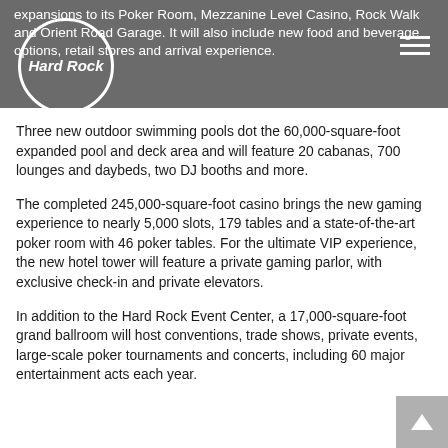expansions to its Poker Room, Mezzanine Level Casino, Rock Walk and Orient Road Garage. It will also include new food and beverage options, retail stores and arrival experience.
[Figure (logo): Hard Rock logo — italic bold white text 'Hard Rock' inside a white circle on dark grey background]
Three new outdoor swimming pools dot the 60,000-square-foot expanded pool and deck area and will feature 20 cabanas, 700 lounges and daybeds, two DJ booths and more.
The completed 245,000-square-foot casino brings the new gaming experience to nearly 5,000 slots, 179 tables and a state-of-the-art poker room with 46 poker tables. For the ultimate VIP experience, the new hotel tower will feature a private gaming parlor, with exclusive check-in and private elevators.
In addition to the Hard Rock Event Center, a 17,000-square-foot grand ballroom will host conventions, trade shows, private events, large-scale poker tournaments and concerts, including 60 major entertainment acts each year.